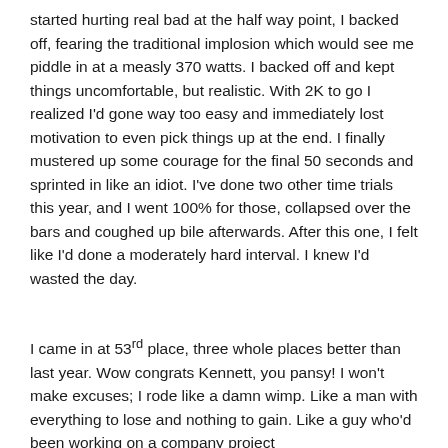started hurting real bad at the half way point, I backed off, fearing the traditional implosion which would see me piddle in at a measly 370 watts. I backed off and kept things uncomfortable, but realistic. With 2K to go I realized I'd gone way too easy and immediately lost motivation to even pick things up at the end. I finally mustered up some courage for the final 50 seconds and sprinted in like an idiot. I've done two other time trials this year, and I went 100% for those, collapsed over the bars and coughed up bile afterwards. After this one, I felt like I'd done a moderately hard interval. I knew I'd wasted the day.
I came in at 53rd place, three whole places better than last year. Wow congrats Kennett, you pansy! I won't make excuses; I rode like a damn wimp. Like a man with everything to lose and nothing to gain. Like a guy who'd been working on a company project